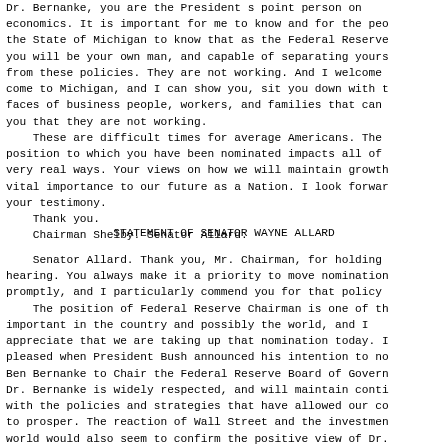Dr. Bernanke, you are the President s point person on economics. It is important for me to know and for the peo the State of Michigan to know that as the Federal Reserve you will be your own man, and capable of separating yours from these policies. They are not working. And I welcome come to Michigan, and I can show you, sit you down with t faces of business people, workers, and families that can you that they are not working.
    These are difficult times for average Americans. The position to which you have been nominated impacts all of very real ways. Your views on how we will maintain growth vital importance to our future as a Nation. I look forwar your testimony.
    Thank you.
    Chairman Shelby. Senator Allard.
STATEMENT OF SENATOR WAYNE ALLARD
Senator Allard. Thank you, Mr. Chairman, for holding hearing. You always make it a priority to move nomination promptly, and I particularly commend you for that policy
    The position of Federal Reserve Chairman is one of th important in the country and possibly the world, and I appreciate that we are taking up that nomination today. I pleased when President Bush announced his intention to no Ben Bernanke to Chair the Federal Reserve Board of Govern Dr. Bernanke is widely respected, and will maintain conti with the policies and strategies that have allowed our co to prosper. The reaction of Wall Street and the investmen world would also seem to confirm the positive view of Dr. Bernanke's nomination.